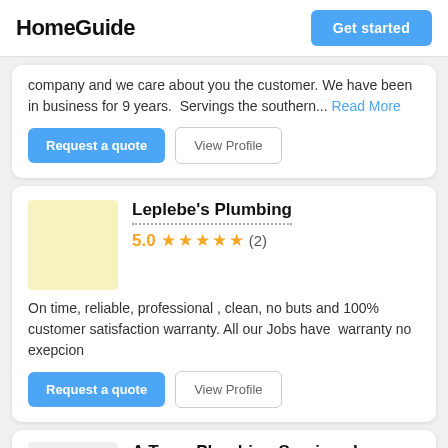HomeGuide | Get started
company and we care about you the customer. We have been in business for 9 years.  Servings the southern... Read More
Request a quote | View Profile
Leplebe's Plumbing
5.0 ★★★★★ (2)
On time, reliable, professional , clean, no buts and 100% customer satisfaction warranty. All our Jobs have  warranty no exepcion
Request a quote | View Profile
A Team Plumbing Services Inc
5.0 ★★★★★ (2)